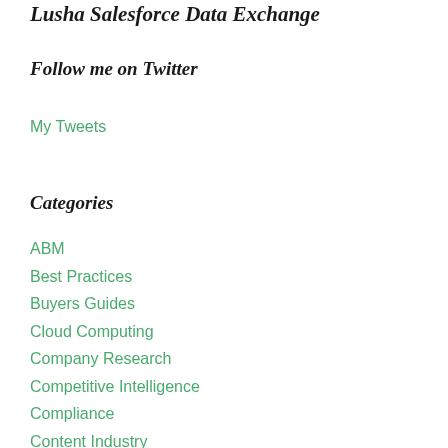Lusha Salesforce Data Exchange
Follow me on Twitter
My Tweets
Categories
ABM
Best Practices
Buyers Guides
Cloud Computing
Company Research
Competitive Intelligence
Compliance
Content Industry
Conversational Intelligence
Conversational Marketing